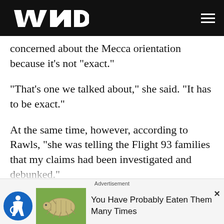WND
concerned about the Mecca orientation because it's not "exact."
"That's one we talked about," she said. "It has to be exact."
At the same time, however, according to Rawls, "she was telling the Flight 93 families that my claims had been investigated and debunked."
"Whenever I succeeded in making a news issue of the Mecca orientation of the crescent, the project would ser...
Advertisement
You Have Probably Eaten Them Many Times